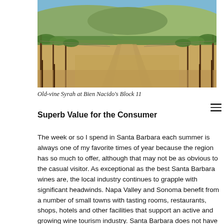[Figure (photo): Photograph of old-vine Syrah vineyard rows at Bien Nacido's Block 11, with rolling hills and blue sky in the background.]
Old-vine Syrah at Bien Nacido's Block 11
Superb Value for the Consumer
The week or so I spend in Santa Barbara each summer is always one of my favorite times of year because the region has so much to offer, although that may not be as obvious to the casual visitor. As exceptional as the best Santa Barbara wines are, the local industry continues to grapple with significant headwinds. Napa Valley and Sonoma benefit from a number of small towns with tasting rooms, restaurants, shops, hotels and other facilities that support an active and growing wine tourism industry. Santa Barbara does not have a Yountville, with its cluster of superb restaurants, or a Healdsburg, with its charming square, to say nothing of larger towns like Napa and Sonoma that have so much to offer the